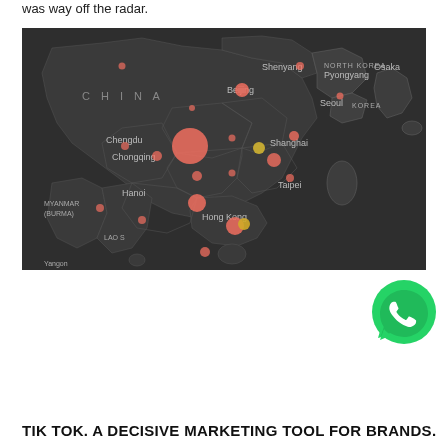was way off the radar.
[Figure (map): Dark map showing East Asia (China, North Korea, South Korea, Japan region) with salmon/pink dot markers of varying sizes indicating data points, and one golden/amber dot near Hong Kong. City labels include Shenyang, Beijing, North Korea, Pyongyang, Seoul, Korea, Osaka, China, Chengdu, Chongqing, Shanghai, Taipei, Myanmar (Burma), Hong Kong, Hanoi, Laos, Yangon.]
[Figure (logo): WhatsApp logo - green circle with white phone handset icon]
TIK TOK. A DECISIVE MARKETING TOOL FOR BRANDS.